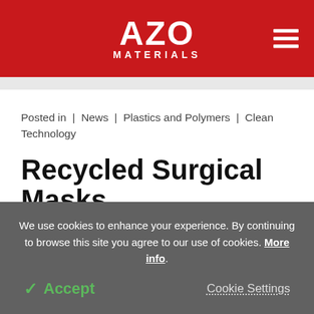AZO MATERIALS
Posted in | News | Plastics and Polymers | Clean Technology
Recycled Surgical Masks Used as a Purifier of
We use cookies to enhance your experience. By continuing to browse this site you agree to our use of cookies. More info.
Accept   Cookie Settings